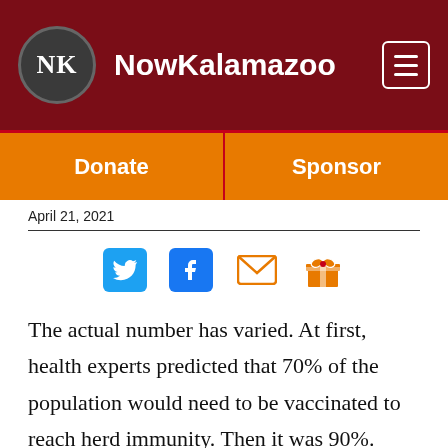NowKalamazoo
Donate  Sponsor
April 21, 2021
[Figure (infographic): Social sharing icons: Twitter (blue bird), Facebook (blue F), Email (orange envelope), Gift (orange gift box)]
The actual number has varied. At first, health experts predicted that 70% of the population would need to be vaccinated to reach herd immunity. Then it was 90%. Now, many have moved away from discussions of herd immunity altogether.